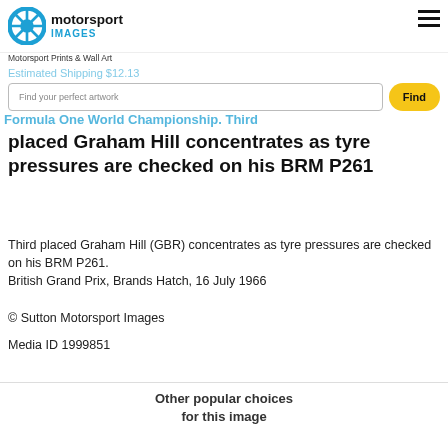motorsport IMAGES
Motorsport Prints & Wall Art
Estimated Shipping $12.13
Find your perfect artwork
Formula One World Championship. Third placed Graham Hill concentrates as tyre pressures are checked on his BRM P261
Third placed Graham Hill (GBR) concentrates as tyre pressures are checked on his BRM P261. British Grand Prix, Brands Hatch, 16 July 1966
© Sutton Motorsport Images
Media ID 1999851
Other popular choices for this image